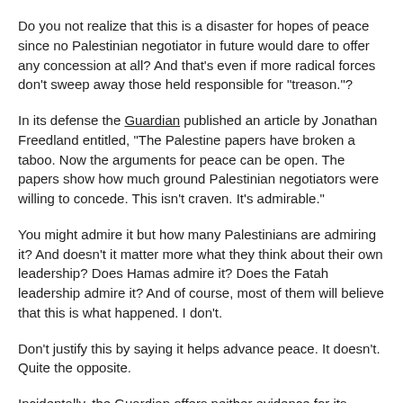Do you not realize that this is a disaster for hopes of peace since no Palestinian negotiator in future would dare to offer any concession at all? And that's even if more radical forces don't sweep away those held responsible for "treason."?
In its defense the Guardian published an article by Jonathan Freedland entitled, "The Palestine papers have broken a taboo. Now the arguments for peace can be open. The papers show how much ground Palestinian negotiators were willing to concede. This isn't craven. It's admirable."
You might admire it but how many Palestinians are admiring it? And doesn't it matter more what they think about their own leadership? Does Hamas admire it? Does the Fatah leadership admire it? And of course, most of them will believe that this is what happened. I don't.
Don't justify this by saying it helps advance peace. It doesn't. Quite the opposite.
Incidentally, the Guardian offers neither evidence for its